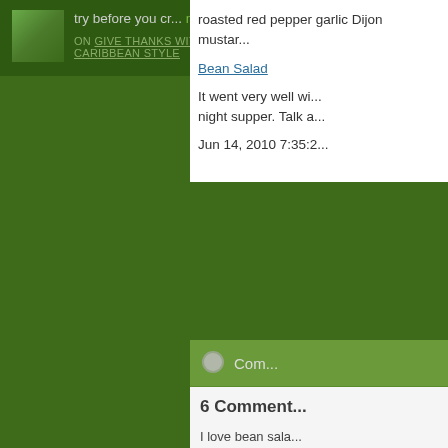try before you cr... more »
ON GIVE THANKS WITH TURKEY CARIBBEAN STYLE
roasted red pepper garlic Dijon mustar...
Bean Salad
It went very well wi... night supper. Talk a...
Jun 14, 2010 7:35:2...
Com...
6 Comment...
I love bean sala... recipes, so that...
They're so vers...
You know how...